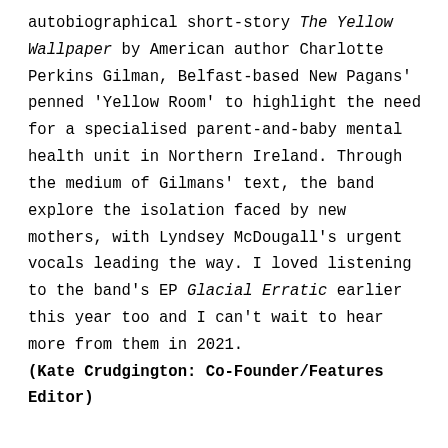autobiographical short-story The Yellow Wallpaper by American author Charlotte Perkins Gilman, Belfast-based New Pagans' penned 'Yellow Room' to highlight the need for a specialised parent-and-baby mental health unit in Northern Ireland. Through the medium of Gilmans' text, the band explore the isolation faced by new mothers, with Lyndsey McDougall's urgent vocals leading the way. I loved listening to the band's EP Glacial Erratic earlier this year too and I can't wait to hear more from them in 2021. (Kate Crudgington: Co-Founder/Features Editor)